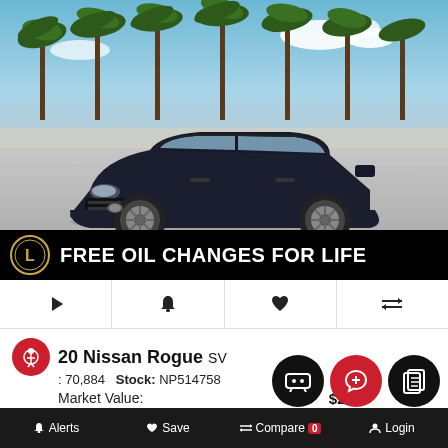[Figure (photo): Dark navy blue 2020 Nissan Rogue SV SUV photographed outdoors with palm trees in background under blue sky]
FREE OIL CHANGES FOR LIFE
[Figure (infographic): Row of four icons: play button, bell/alert, heart/save, compare arrows]
20 Nissan Rogue SV
: 70,884   Stock: NP514758
Market Value:
$2...
Price:
Alerts   Save   Compare 0   Login